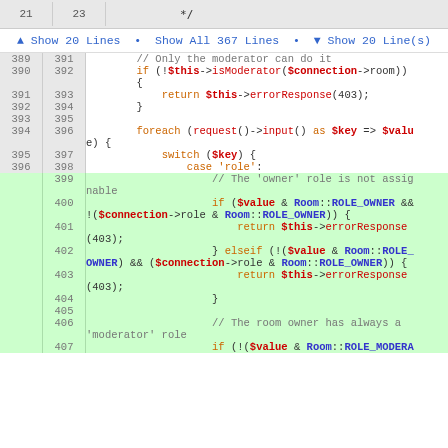[Figure (screenshot): Code diff viewer showing PHP code with line numbers. Lines 389-407 visible with some lines highlighted in green (added lines 399-406). A 'Show 20 Lines / Show All 367 Lines / Show 20 Line(s)' navigation bar is present.]
▲ Show 20 Lines • Show All 367 Lines • ▼ Show 20 Line(s)